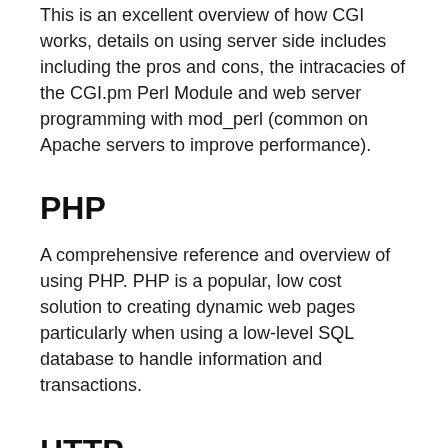This is an excellent overview of how CGI works, details on using server side includes including the pros and cons, the intracacies of the CGI.pm Perl Module and web server programming with mod_perl (common on Apache servers to improve performance).
PHP
A comprehensive reference and overview of using PHP. PHP is a popular, low cost solution to creating dynamic web pages particularly when using a low-level SQL database to handle information and transactions.
HTTP